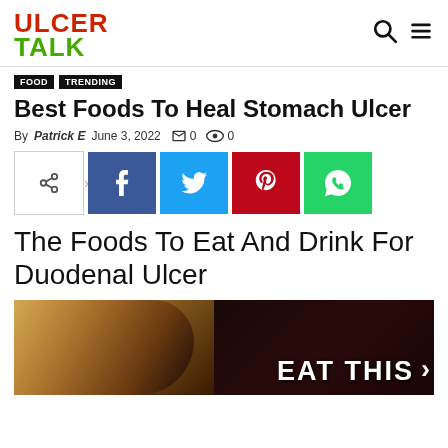ULCER TALK
FOOD
TRENDING
Best Foods To Heal Stomach Ulcer
By Patrick E  June 3, 2022  0  0
[Figure (other): Social share buttons: share, Facebook, Twitter, Pinterest, WhatsApp]
The Foods To Eat And Drink For Duodenal Ulcer
[Figure (photo): Photo of a blonde woman on the left, anatomical stomach illustration on the right with bold white text reading EAT THIS]